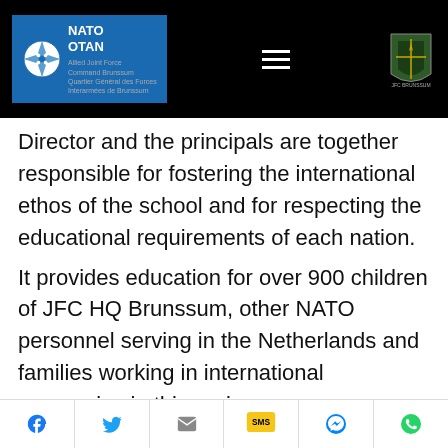NATO OTAN — JFC Brunssum navigation header
Director and the principals are together responsible for fostering the international ethos of the school and for respecting the educational requirements of each nation.
It provides education for over 900 children of JFC HQ Brunssum, other NATO personnel serving in the Netherlands and families working in international companies in this region.
Mrs Wood explained in detail the core values of the school, creating a positive, values based
Social share bar: Facebook, Twitter, Email, SMS, Messenger, WhatsApp